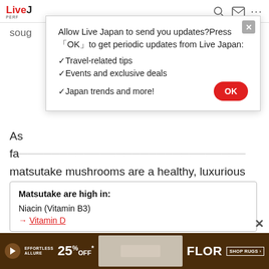LiveJapan PERFECT GUIDE
[Figure (screenshot): Browser notification permission modal dialog: 'Allow Live Japan to send you updates? Press OK to get periodic updates from Live Japan: Travel-related tips, Events and exclusive deals, Japan trends and more!' with OK button and close X button]
As fa... matsutake mushrooms are a healthy, luxurious autumn ingredient that you should absolutely try if you get the chance.
Matsutake are high in:
Niacin (Vitamin B3)
→ Vitamin D
[Figure (screenshot): Brown advertisement banner for FLOR rugs: Effortless Allure 25% OFF, Shop Rugs]